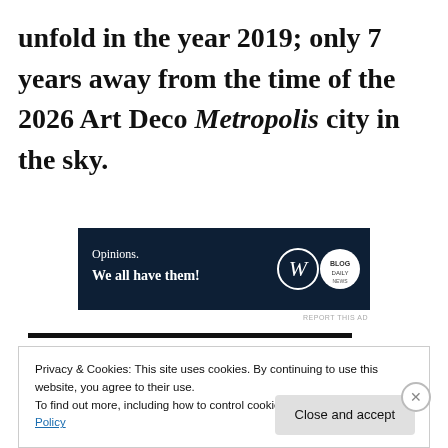unfold in the year 2019; only 7 years away from the time of the 2026 Art Deco Metropolis city in the sky.
[Figure (other): Advertisement banner with dark navy background. Text reads 'Opinions. We all have them!' with WordPress W logo and a circular badge logo on the right.]
REPORT THIS AD
Privacy & Cookies: This site uses cookies. By continuing to use this website, you agree to their use. To find out more, including how to control cookies, see here: Cookie Policy